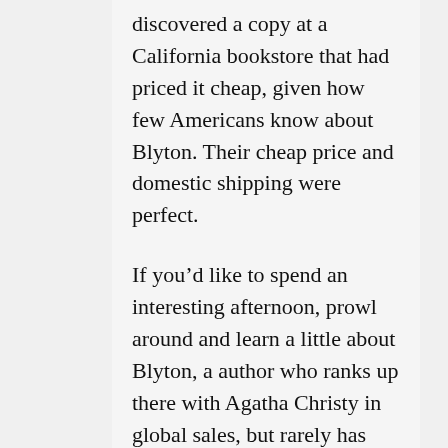discovered a copy at a California bookstore that had priced it cheap, given how few Americans know about Blyton. Their cheap price and domestic shipping were perfect.

If you’d like to spend an interesting afternoon, prowl around and learn a little about Blyton, a author who ranks up there with Agatha Christy in global sales, but rarely has more than a few her books in the typical big city American library with